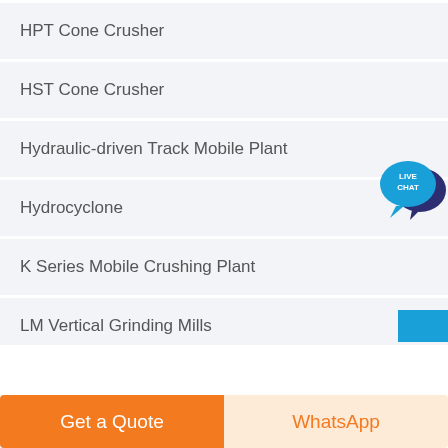HPT Cone Crusher
HST Cone Crusher
Hydraulic-driven Track Mobile Plant
Hydrocyclone
K Series Mobile Crushing Plant
LM Vertical Grinding Mills
[Figure (other): Live Chat speech bubble icon badge, teal color with dark blue chat bubble, text LIVE CHAT in white]
Get a Quote
WhatsApp